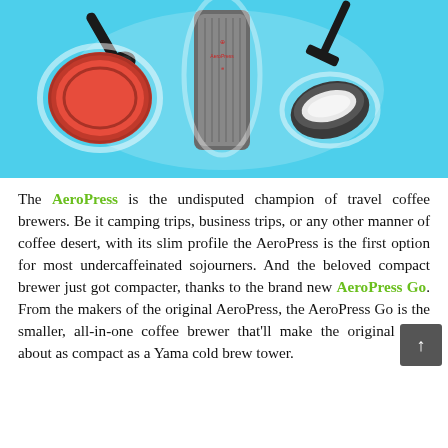[Figure (photo): Product photo of AeroPress Go coffee maker components disassembled on a cyan/light blue background. Shows the cylindrical barrel, a red screw cap, a black filter cap, a black scoop/stirrer, and a stirring paddle.]
The AeroPress is the undisputed champion of travel coffee brewers. Be it camping trips, business trips, or any other manner of coffee desert, with its slim profile the AeroPress is the first option for most undercaffeinated sojourners. And the beloved compact brewer just got compacter, thanks to the brand new AeroPress Go. From the makers of the original AeroPress, the AeroPress Go is the smaller, all-in-one coffee brewer that'll make the original look about as compact as a Yama cold brew tower.